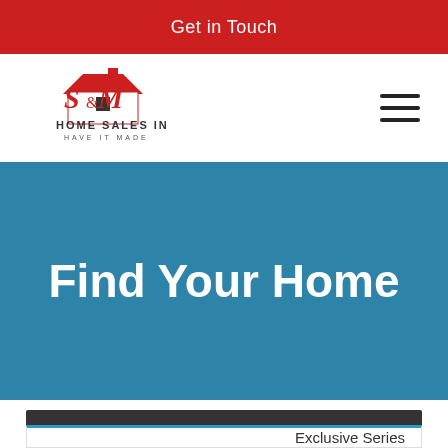Get in Touch
[Figure (logo): S&M Home Sales Inc 'Have It Made' logo with red house icon and stylized S&M lettering]
Find Your Home
Filter
Exclusive Series